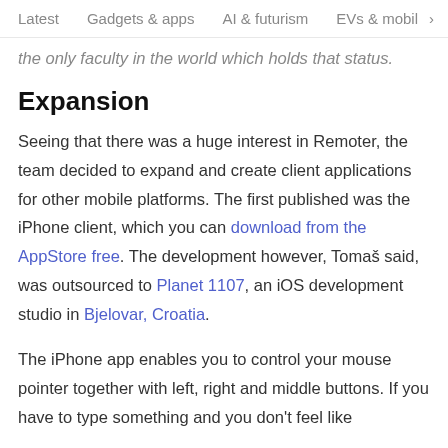Latest  Gadgets & apps  AI & futurism  EVs & mobil  >
the only faculty in the world which holds that status.
Expansion
Seeing that there was a huge interest in Remoter, the team decided to expand and create client applications for other mobile platforms. The first published was the iPhone client, which you can download from the AppStore free. The development however, Tomaš said, was outsourced to Planet 1107, an iOS development studio in Bjelovar, Croatia.
The iPhone app enables you to control your mouse pointer together with left, right and middle buttons. If you have to type something and you don't feel like